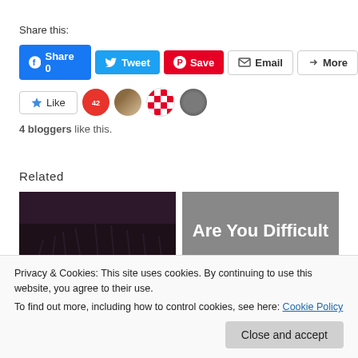Share this:
[Figure (screenshot): Social share buttons: Facebook Share 0, Tweet, Pinterest Save, Email, More]
[Figure (screenshot): Like button with star icon and 4 blogger avatars]
4 bloggers like this.
Related
[Figure (photo): Dark silhouette of bare trees against twilight sky]
[Figure (illustration): Gray background with white bold text: Are You Difficult]
Journey into the
March 1, 2018
Privacy & Cookies: This site uses cookies. By continuing to use this website, you agree to their use.
To find out more, including how to control cookies, see here: Cookie Policy